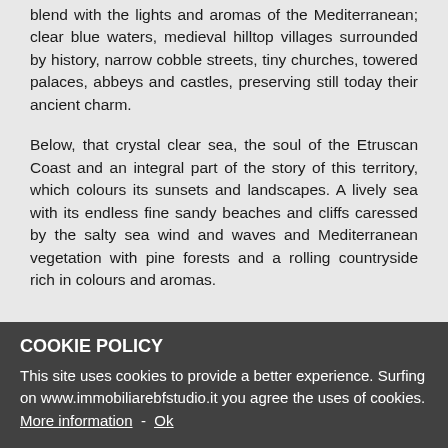blend with the lights and aromas of the Mediterranean; clear blue waters, medieval hilltop villages surrounded by history, narrow cobble streets, tiny churches, towered palaces, abbeys and castles, preserving still today their ancient charm.
Below, that crystal clear sea, the soul of the Etruscan Coast and an integral part of the story of this territory, which colours its sunsets and landscapes. A lively sea with its endless fine sandy beaches and cliffs caressed by the salty sea wind and waves and Mediterranean vegetation with pine forests and a rolling countryside rich in colours and aromas.
COOKIE POLICY
This site uses cookies to provide a better experience. Surfing on www.immobiliarebfstudio.it you agree the uses of cookies. More information - Ok